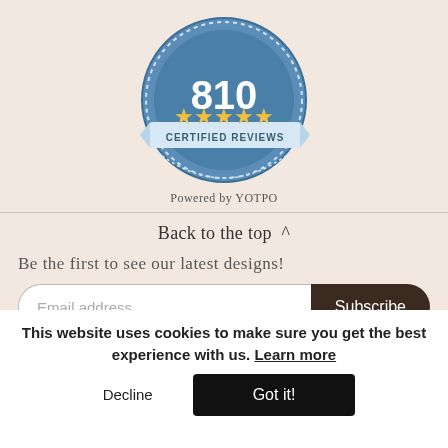[Figure (illustration): Blue circular badge/seal with the number 810 in large white text, five gold stars below the number, and a banner reading 'CERTIFIED REVIEWS' across the middle. The badge has a dotted border and decorative ribbon details.]
Powered by YOTPO
Back to the top ^
Be the first to see our latest designs!
Email address
Subscribe
This website uses cookies to make sure you get the best experience with us. Learn more
Decline
Got it!